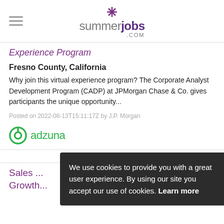summerjobs.com
Experience Program
Fresno County, California
Why join this virtual experience program? The Corporate Analyst Development Program (CADP) at JPMorgan Chase & Co. gives participants the unique opportunity...
Posted on 2022-08-13T15:11:17Z by J.P. Morgan
[Figure (logo): Adzuna logo with green circular icon and green text 'adzuna']
ADVERTISEMENT
Sales ... For Growth
We use cookies to provide you with a great user experience. By using our site you accept our use of cookies. Learn more